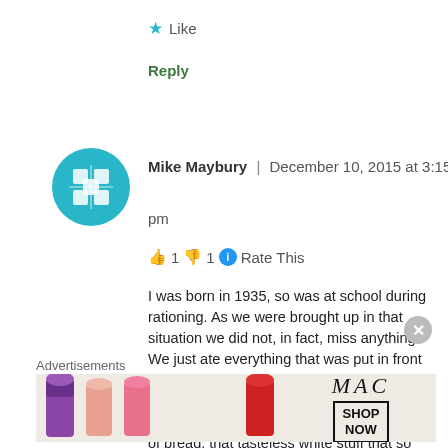★ Like
Reply
[Figure (illustration): Circular teal avatar icon with diamond/cross pattern]
Mike Maybury | December 10, 2015 at 3:15 pm
👍 1 👎 1 ℹ Rate This
I was born in 1935, so was at school during rationing. As we were brought up in that situation we did not, in fact, miss anything. We just ate everything that was put in front of us. The National Loaf was about 85% of the wheat, as opposed to that dreadful imitation of bread, that tasteless white stuff that so many people eat today, which has to be fortified with chalk et
Advertisements
[Figure (photo): MAC cosmetics advertisement banner with lipsticks and SHOP NOW button]